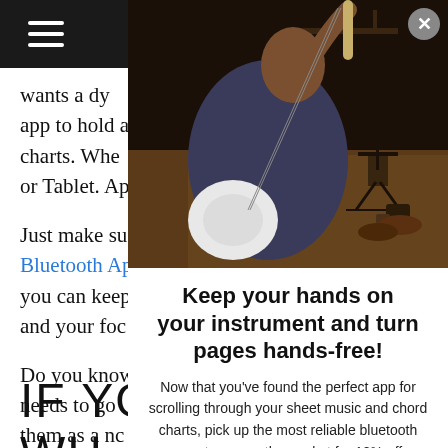≡ (hamburger menu nav bar)
wants a dy app to hold a charts. Whe or Tablet. Ap
Just make su Bluetooth Ap you can keep and your foc
Do you know needs to go them as a no
IF YOU W...
[Figure (photo): A person sitting on a wooden floor playing a white electric guitar, viewed from behind. Music stand visible in background. Room has warm dark lighting.]
Keep your hands on your instrument and turn pages hands-free!
Now that you've found the perfect app for scrolling through your sheet music and chord charts, pick up the most reliable bluetooth page turner on the market for 10% off.
Enter your email to get a 10% discount